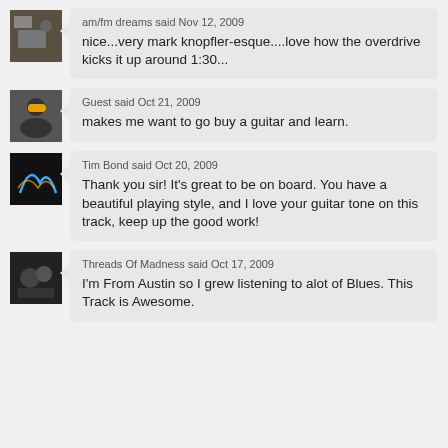am/fm dreams said Nov 12, 2009
nice...very mark knopfler-esque....love how the overdrive kicks it up around 1:30...
Guest said Oct 21, 2009
makes me want to go buy a guitar and learn.
Tim Bond said Oct 20, 2009
Thank you sir! It's great to be on board. You have a beautiful playing style, and I love your guitar tone on this track, keep up the good work!
Threads Of Madness said Oct 17, 2009
I'm From Austin so I grew listening to alot of Blues. This Track is Awesome.